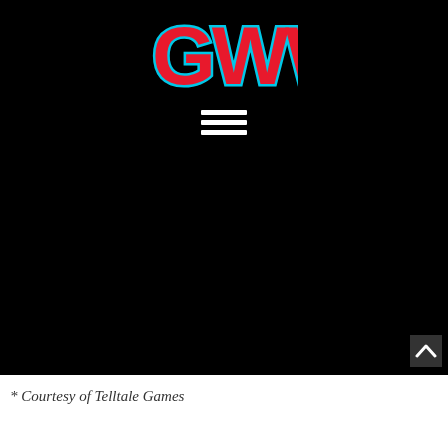[Figure (logo): GWW logo in bold red letters with cyan/blue outline on black background]
[Figure (screenshot): Black image area — embedded video player or dark screenshot from Telltale Games content]
* Courtesy of Telltale Games